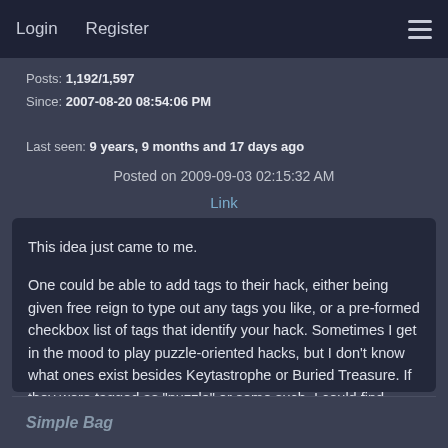Login   Register
Posts: 1,192/1,597
Since: 2007-08-20 08:54:06 PM

Last seen: 9 years, 9 months and 17 days ago
Posted on 2009-09-03 02:15:32 AM
Link
This idea just came to me.

One could be able to add tags to their hack, either being given free reign to type out any tags you like, or a pre-formed checkbox list of tags that identify your hack. Sometimes I get in the mood to play puzzle-oriented hacks, but I don't know what ones exist besides Keytastrophe or Buried Treasure. If they were tagged as "puzzle" or some such, I could find them, and any other hacks tagged with "puzzle", at my whimsy.
Simple Bag